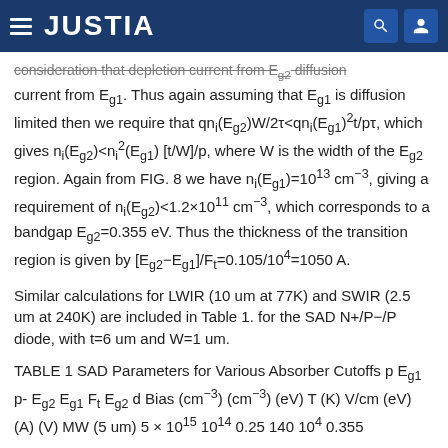JUSTIA
consideration that depletion current from Eg2 diffusion current from Eg1. Thus again assuming that Eg1 is diffusion limited then we require that qni(Eg2)W/2τ<qni(Eg1)²t/pτ, which gives ni(Eg2)<ni²(Eg1)[t/W]/p, where W is the width of the Eg2 region. Again from FIG. 8 we have ni(Eg1)=10¹³ cm⁻³, giving a requirement of ni(Eg2)<1.2×10¹¹ cm⁻³, which corresponds to a bandgap Eg2=0.355 eV. Thus the thickness of the transition region is given by [Eg2−Eg1]/Ft=0.105/10⁴=1050 A.
Similar calculations for LWIR (10 um at 77K) and SWIR (2.5 um at 240K) are included in Table 1. for the SAD N+/P−/P diode, with t=6 um and W=1 um.
TABLE 1 SAD Parameters for Various Absorber Cutoffs p Eg1 p- Eg2 Eg1 Ft Eg2 d Bias (cm⁻³) (cm⁻³) (eV) T (K) V/cm (eV) (A) (V) MW (5 um) 5 × 10¹⁵ 10¹⁴ 0.25 140 10⁴ 0.355